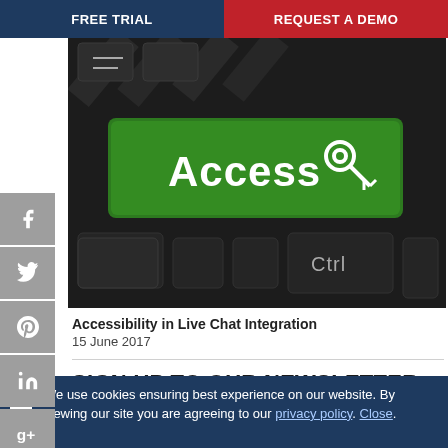FREE TRIAL | REQUEST A DEMO
[Figure (photo): Close-up of a dark keyboard with a green key labeled 'Access' and a keys icon, and another key labeled 'Ctrl']
Accessibility in Live Chat Integration
15 June 2017
SIGN UP TO OUR NEWSLETTER
We use cookies ensuring best experience on our website. By viewing our site you are agreeing to our privacy policy. Close.